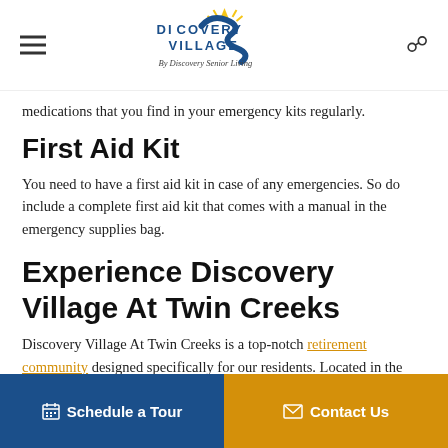Discovery Village By Discovery Senior Living
medications that you find in your emergency kits regularly.
First Aid Kit
You need to have a first aid kit in case of any emergencies. So do include a complete first aid kit that comes with a manual in the emergency supplies bag.
Experience Discovery Village At Twin Creeks
Discovery Village At Twin Creeks is a top-notch retirement community designed specifically for our residents. Located in the northeast of Dallas, this is a wonderful place for you to
Schedule a Tour   Contact Us